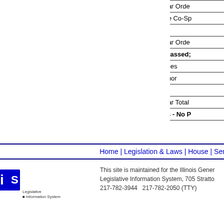| Date | Chamber | Action |
| --- | --- | --- |
| 4/19/2007 | Senate | Placed on Calendar Orde |
| 5/2/2007 | Senate | Added as Alternate Co-Sp |
| 5/3/2007 | Senate | Second Reading |
| 5/3/2007 | Senate | Placed on Calendar Orde |
| 5/15/2007 | Senate | Third Reading - Passed; |
| 5/15/2007 | House | Passed Both Houses |
| 6/13/2007 | House | Sent to the Governor |
| 8/10/2007 | House | Governor Vetoed |
| 9/19/2007 | House | Placed on Calendar Total |
| 10/5/2007 | House | Total Veto Stands - No P |
Back To
Home | Legislation & Laws | House | Sena
This site is maintained for the Illinois Gener Legislative Information System, 705 Stratto 217-782-3944   217-782-2050 (TTY)